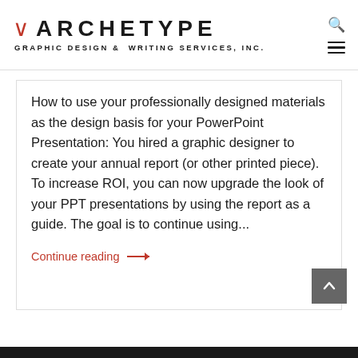ARCHETYPE GRAPHIC DESIGN & WRITING SERVICES, INC.
How to use your professionally designed materials as the design basis for your PowerPoint Presentation: You hired a graphic designer to create your annual report (or other printed piece). To increase ROI, you can now upgrade the look of your PPT presentations by using the report as a guide. The goal is to continue using...
Continue reading →